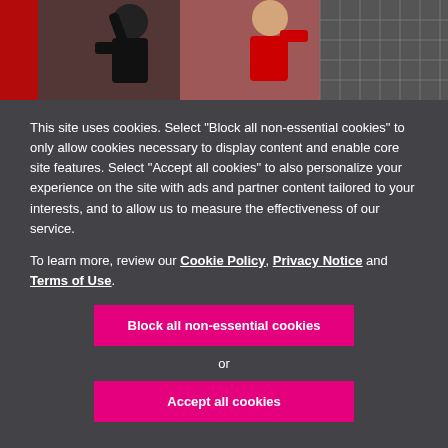[Figure (photo): Two people practicing martial arts, one in black and one in red shirt, with a grid/cage background]
This site uses cookies. Select "Block all non-essential cookies" to only allow cookies necessary to display content and enable core site features. Select "Accept all cookies" to also personalize your experience on the site with ads and partner content tailored to your interests, and to allow us to measure the effectiveness of our service.
To learn more, review our Cookie Policy, Privacy Notice and Terms of Use.
Block all non-essential cookies
or
Accept all cookies